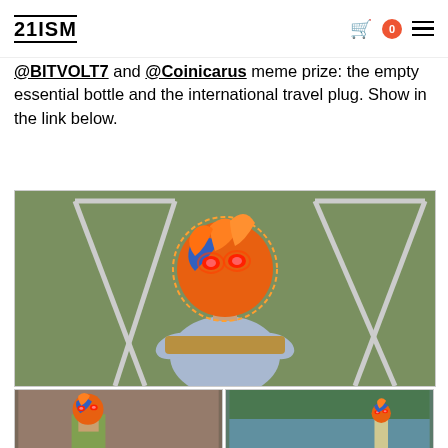21ISM
@BITVOLT7 and @Coinicarus meme prize: the empty essential bottle and the international travel plug. Show in the link below.
[Figure (photo): Three meme images showing a person with an orange cartoon alien/monster face superimposed over their head. Top image: person sitting on playground equipment with green grass background. Bottom-left: person standing indoors. Bottom-right: person standing near a pool/outdoor area.]